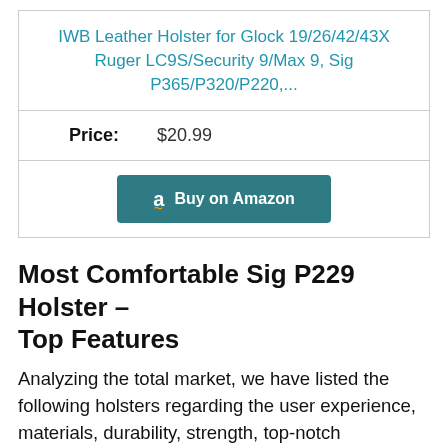IWB Leather Holster for Glock 19/26/42/43X Ruger LC9S/Security 9/Max 9, Sig P365/P320/P220,...
| Price: | $20.99 |
[Figure (other): Buy on Amazon button with Amazon logo]
Most Comfortable Sig P229 Holster – Top Features
Analyzing the total market, we have listed the following holsters regarding the user experience, materials, durability, strength, top-notch performance, budget, preferences, and so on facts based on any decent user's